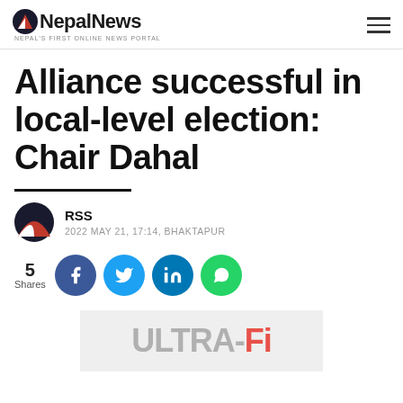NepalNews – NEPAL'S FIRST ONLINE NEWS PORTAL
Alliance successful in local-level election: Chair Dahal
RSS
2022 MAY 21, 17:14, BHAKTAPUR
5 Shares
[Figure (logo): ULTRA-Fi advertisement banner]